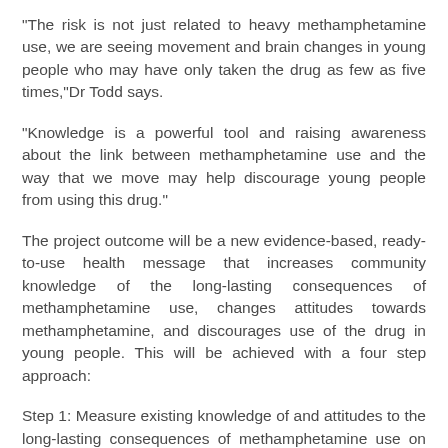“The risk is not just related to heavy methamphetamine use, we are seeing movement and brain changes in young people who may have only taken the drug as few as five times,”Dr Todd says.
“Knowledge is a powerful tool and raising awareness about the link between methamphetamine use and the way that we move may help discourage young people from using this drug.”
The project outcome will be a new evidence-based, ready-to-use health message that increases community knowledge of the long-lasting consequences of methamphetamine use, changes attitudes towards methamphetamine, and discourages use of the drug in young people. This will be achieved with a four step approach:
Step 1: Measure existing knowledge of and attitudes to the long-lasting consequences of methamphetamine use on health.